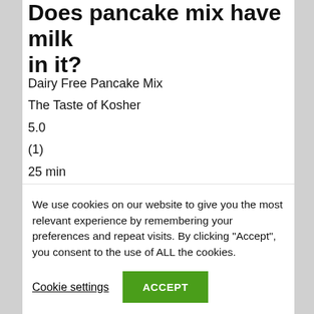Does pancake mix have milk in it?
Dairy Free Pancake Mix
The Taste of Kosher
5.0
(1)
25 min
Plain flour, baking soda, baking powder, white sugar
Link: https://www.thetasteofkosher.com/dairy
We use cookies on our website to give you the most relevant experience by remembering your preferences and repeat visits. By clicking “Accept”, you consent to the use of ALL the cookies.
Cookie settings
ACCEPT